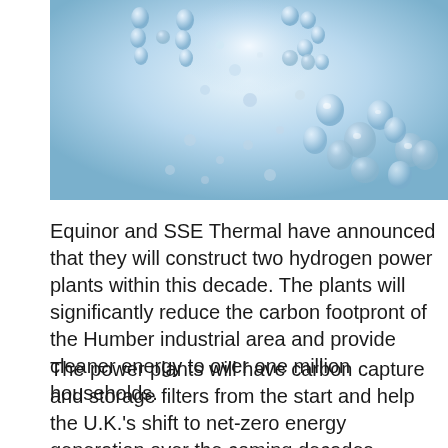[Figure (photo): Close-up underwater photo showing hydrogen gas bubbles rising in water, with 'H2' formed by bubbles against a light blue background.]
Equinor and SSE Thermal have announced that they will construct two hydrogen power plants within this decade. The plants will significantly reduce the carbon footpront of the Humber industrial area and provide cleaner energy to over one million households.
The power plants will have carbon capture and storage filters from the start and help the U.K.'s shift to net-zero energy generation over the coming decades. Excess CO2 will be transported for storage under the Southern